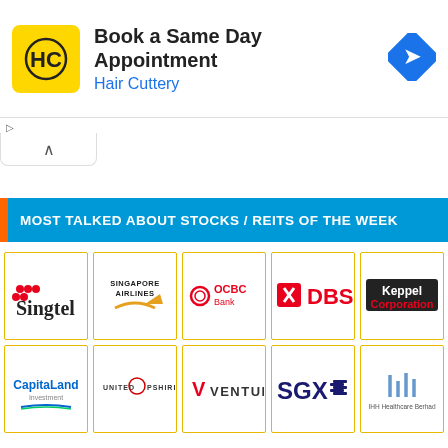[Figure (screenshot): Advertisement banner for Hair Cuttery: 'Book a Same Day Appointment' with yellow HC logo and blue navigation arrow icon]
MOST TALKED ABOUT STOCKS / REITS OF THE WEEK
[Figure (logo): Singtel logo]
[Figure (logo): Singapore Airlines logo]
[Figure (logo): OCBC Bank logo]
[Figure (logo): DBS logo]
[Figure (logo): Keppel Corporation logo]
[Figure (logo): CapitaLand Investment logo]
[Figure (logo): United Hampshire logo]
[Figure (logo): Venture logo]
[Figure (logo): SGX logo]
[Figure (logo): IHH Healthcare Berhad logo]